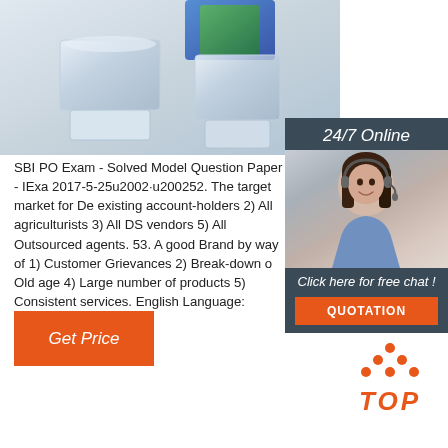[Figure (photo): Cropped top portion showing crystal/glass keyboard key objects on white surface]
[Figure (photo): Sidebar with 24/7 Online header, photo of woman with headset smiling, Click here for free chat text, and orange QUOTATION button]
SBI PO Exam - Solved Model Question Paper - IExa 2017-5-25u2002·u200252. The target market for De existing account-holders 2) All agriculturists 3) All DS vendors 5) All Outsourced agents. 53. A good Brand by way of 1) Customer Grievances 2) Break-down o Old age 4) Large number of products 5) Consistent services. English Language:
[Figure (illustration): Orange Get Price button]
[Figure (logo): TOP icon with orange dots arranged in triangle above bold orange italic TOP text]